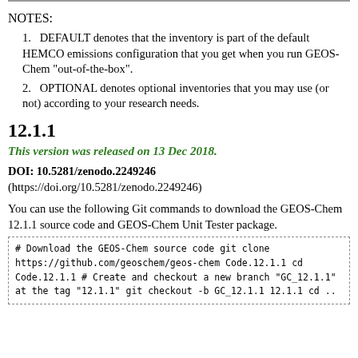NOTES:
DEFAULT denotes that the inventory is part of the default HEMCO emissions configuration that you get when you run GEOS-Chem "out-of-the-box".
OPTIONAL denotes optional inventories that you may use (or not) according to your research needs.
12.1.1
This version was released on 13 Dec 2018.
DOI: 10.5281/zenodo.2249246
(https://doi.org/10.5281/zenodo.2249246)
You can use the following Git commands to download the GEOS-Chem 12.1.1 source code and GEOS-Chem Unit Tester package.
# Download the GEOS-Chem source code
git clone https://github.com/geoschem/geos-chem Code.12.1.1
cd Code.12.1.1

# Create and checkout a new branch "GC_12.1.1" at the tag "12.1.1"
git checkout -b GC_12.1.1 12.1.1
cd ..